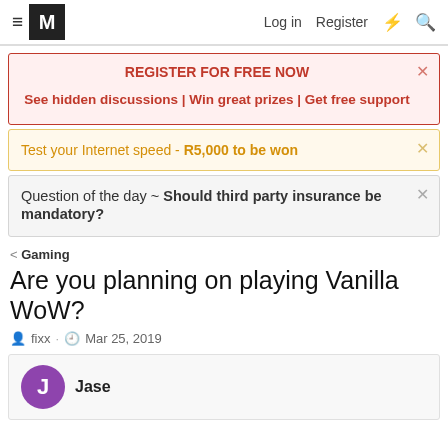≡  M   Log in   Register   ⚡   🔍
REGISTER FOR FREE NOW
See hidden discussions | Win great prizes | Get free support
Test your Internet speed - R5,000 to be won
Question of the day ~ Should third party insurance be mandatory?
< Gaming
Are you planning on playing Vanilla WoW?
fixx · Mar 25, 2019
Jase